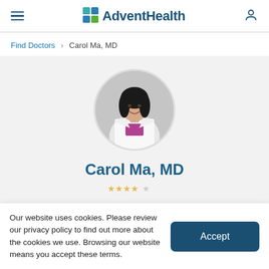AdventHealth navigation header with hamburger menu and user icon
Find Doctors > Carol Ma, MD
[Figure (photo): Circular cropped professional photo of Dr. Carol Ma, a woman in a white lab coat with dark hair, smiling against a gray background]
Carol Ma, MD
Our website uses cookies. Please review our privacy policy to find out more about the cookies we use. Browsing our website means you accept these terms.